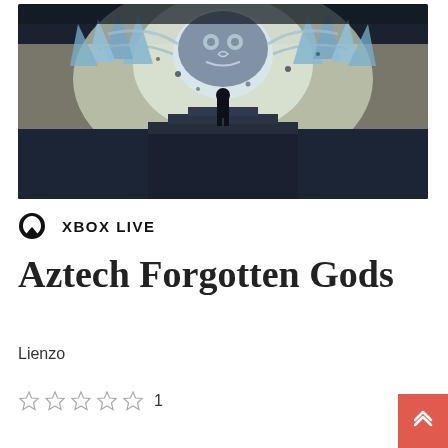[Figure (illustration): Game cover art for Aztech Forgotten Gods showing a large stylized creature/god looming over ancient Aztec temple ruins with a silhouetted figure standing before it, with blue crystalline spikes and glowing light effects]
XBOX LIVE
Aztech Forgotten Gods
Lienzo
1